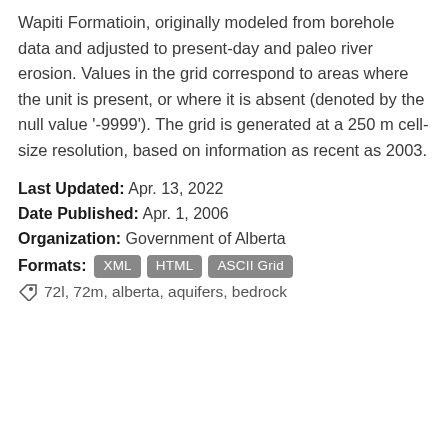Wapiti Formatioin, originally modeled from borehole data and adjusted to present-day and paleo river erosion. Values in the grid correspond to areas where the unit is present, or where it is absent (denoted by the null value '-9999'). The grid is generated at a 250 m cell-size resolution, based on information as recent as 2003.
Last Updated: Apr. 13, 2022
Date Published: Apr. 1, 2006
Organization: Government of Alberta
Formats: XML HTML ASCII Grid
72l, 72m, alberta, aquifers, bedrock